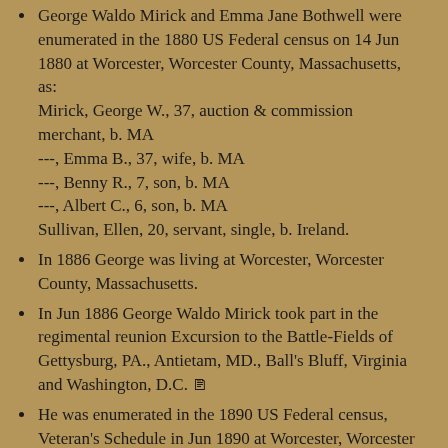George Waldo Mirick and Emma Jane Bothwell were enumerated in the 1880 US Federal census on 14 Jun 1880 at Worcester, Worcester County, Massachusetts, as: Mirick, George W., 37, auction & commission merchant, b. MA ---, Emma B., 37, wife, b. MA ---, Benny R., 7, son, b. MA ---, Albert C., 6, son, b. MA Sullivan, Ellen, 20, servant, single, b. Ireland.
In 1886 George was living at Worcester, Worcester County, Massachusetts.
In Jun 1886 George Waldo Mirick took part in the regimental reunion Excursion to the Battle-Fields of Gettysburg, PA., Antietam, MD., Ball's Bluff, Virginia and Washington, D.C. [document icon]
He was enumerated in the 1890 US Federal census, Veteran's Schedule in Jun 1890 at Worcester, Worcester County, Massachusetts, as having served in the 15th Massachusetts Volunteer Infantry, as an orderly.
He was a pall bearer at the burial of Joseph Priestly Young on 9 Mar 1893 at Evergreen Cemetery, Leominster, Worcester County, Massachusetts.
George Waldo Mirick and Emma Jane Bothwell were enumerated in the 1900 US Federal census on 9 Jun 1900 at Worcester, Worcester County, Massachusetts, as: